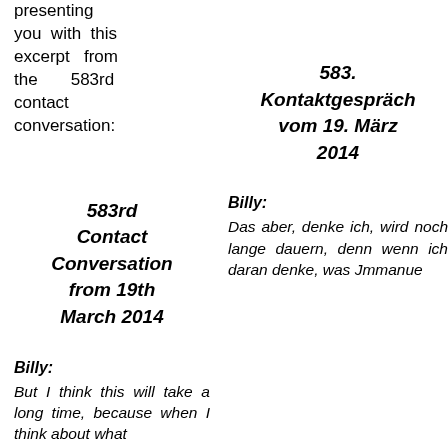presenting you with this excerpt from the 583rd contact conversation:
583rd Contact Conversation from 19th March 2014
583. Kontaktgespräch vom 19. März 2014
Billy:
But I think this will take a long time, because when I think about what
Billy:
Das aber, denke ich, wird noch lange dauern, denn wenn ich daran denke, was Jmmanue